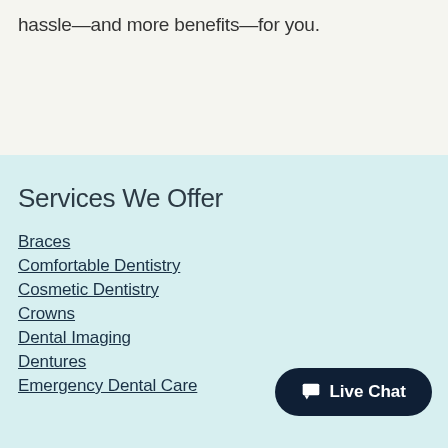hassle—and more benefits—for you.
Services We Offer
Braces
Comfortable Dentistry
Cosmetic Dentistry
Crowns
Dental Imaging
Dentures
Emergency Dental Care
Live Chat